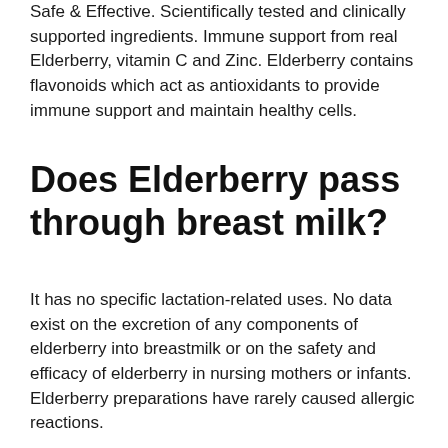Safe & Effective. Scientifically tested and clinically supported ingredients. Immune support from real Elderberry, vitamin C and Zinc. Elderberry contains flavonoids which act as antioxidants to provide immune support and maintain healthy cells.
Does Elderberry pass through breast milk?
It has no specific lactation-related uses. No data exist on the excretion of any components of elderberry into breastmilk or on the safety and efficacy of elderberry in nursing mothers or infants. Elderberry preparations have rarely caused allergic reactions.